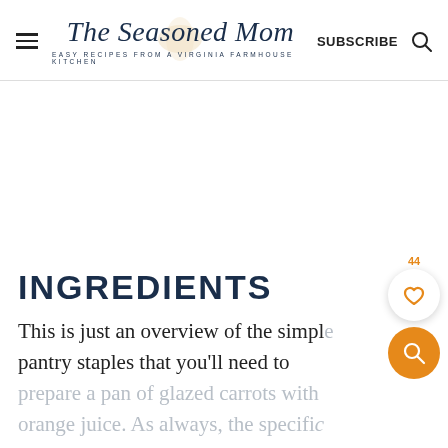The Seasoned Mom — EASY RECIPES FROM A VIRGINIA FARMHOUSE KITCHEN — SUBSCRIBE
INGREDIENTS
This is just an overview of the simple pantry staples that you'll need to prepare a pan of glazed carrots with orange juice. As always, the specific